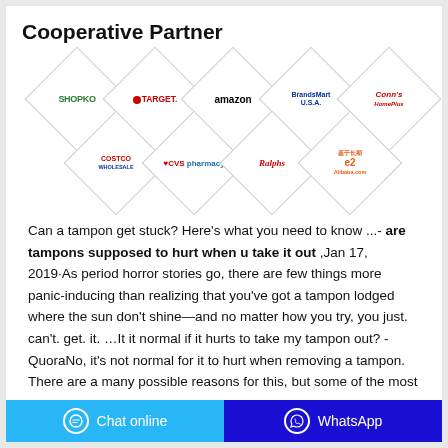Cooperative Partner
[Figure (logo): Grid of 9 partner logos in diamond shapes: Shopko, Target, Amazon, BrandsMart USA, Conn's HomePlus (row 1); Costco Wholesale, CVS pharmacy, Ralphs, Alibaba.com (row 2)]
Can a tampon get stuck? Here's what you need to know ...- are tampons supposed to hurt when u take it out ,Jan 17, 2019·As period horror stories go, there are few things more panic-inducing than realizing that you've got a tampon lodged where the sun don't shine—and no matter how you try, you just. can't. get. it. …It it normal if it hurts to take my tampon out? - QuoraNo, it's not normal for it to hurt when removing a tampon. There are a many possible reasons for this, but some of the most common reasons
Chat online   WhatsApp